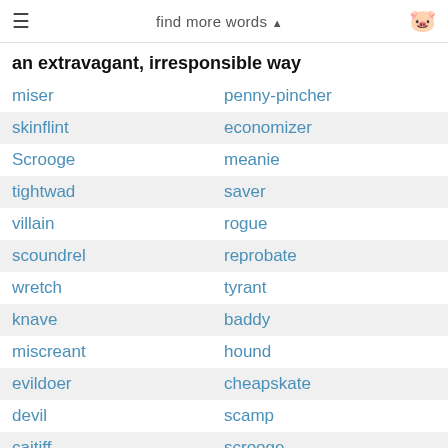≡  find more words ▲  🐷
an extravagant, irresponsible way
miser  |  penny-pincher
skinflint  |  economizer
Scrooge  |  meanie
tightwad  |  saver
villain  |  rogue
scoundrel  |  reprobate
wretch  |  tyrant
knave  |  baddy
miscreant  |  hound
evildoer  |  cheapskate
devil  |  scamp
caitiff  |  scrooge
bully  |  savage